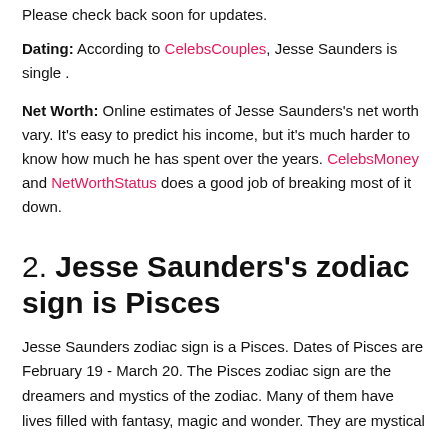Please check back soon for updates.
Dating: According to CelebsCouples, Jesse Saunders is single .
Net Worth: Online estimates of Jesse Saunders's net worth vary. It's easy to predict his income, but it's much harder to know how much he has spent over the years. CelebsMoney and NetWorthStatus does a good job of breaking most of it down.
2. Jesse Saunders's zodiac sign is Pisces
Jesse Saunders zodiac sign is a Pisces. Dates of Pisces are February 19 - March 20. The Pisces zodiac sign are the dreamers and mystics of the zodiac. Many of them have lives filled with fantasy, magic and wonder. They are mystical